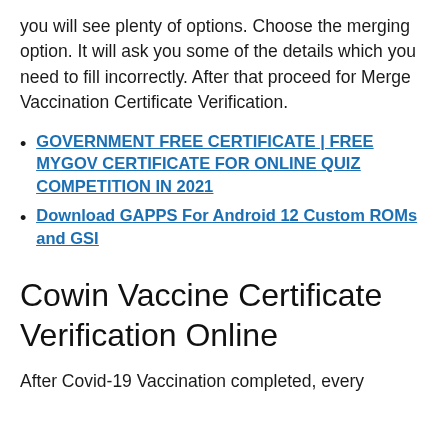you will see plenty of options. Choose the merging option. It will ask you some of the details which you need to fill incorrectly. After that proceed for Merge Vaccination Certificate Verification.
GOVERNMENT FREE CERTIFICATE | FREE MYGOV CERTIFICATE FOR ONLINE QUIZ COMPETITION IN 2021
Download GAPPS For Android 12 Custom ROMs and GSI
Cowin Vaccine Certificate Verification Online
After Covid-19 Vaccination completed, every